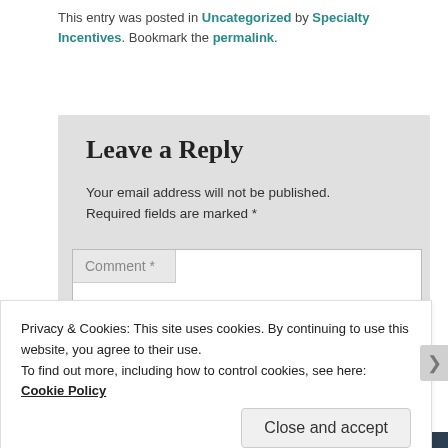This entry was posted in Uncategorized by Specialty Incentives. Bookmark the permalink.
Leave a Reply
Your email address will not be published. Required fields are marked *
Comment *
Privacy & Cookies: This site uses cookies. By continuing to use this website, you agree to their use.
To find out more, including how to control cookies, see here: Cookie Policy
Close and accept